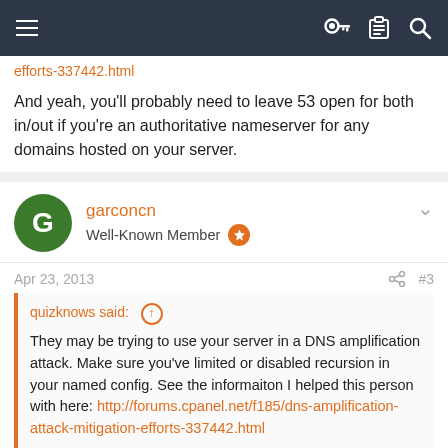Navigation bar with menu, key, clipboard, and search icons
efforts-337442.html
And yeah, you'll probably need to leave 53 open for both in/out if you're an authoritative nameserver for any domains hosted on your server.
garconcn
Well-Known Member
Apr 23, 2013    #3
quizknows said: ↑

They may be trying to use your server in a DNS amplification attack. Make sure you've limited or disabled recursion in your named config. See the informaiton I helped this person with here: http://forums.cpanel.net/f185/dns-amplification-attack-mitigation-efforts-337442.html